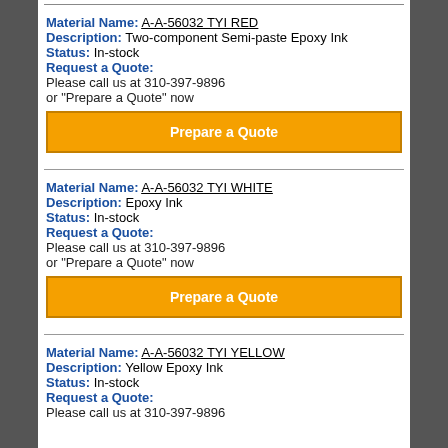Material Name: A-A-56032 TYI RED
Description: Two-component Semi-paste Epoxy Ink
Status: In-stock
Request a Quote:
Please call us at 310-397-9896
or "Prepare a Quote" now
Prepare a Quote
Material Name: A-A-56032 TYI WHITE
Description: Epoxy Ink
Status: In-stock
Request a Quote:
Please call us at 310-397-9896
or "Prepare a Quote" now
Prepare a Quote
Material Name: A-A-56032 TYI YELLOW
Description: Yellow Epoxy Ink
Status: In-stock
Request a Quote:
Please call us at 310-397-9896